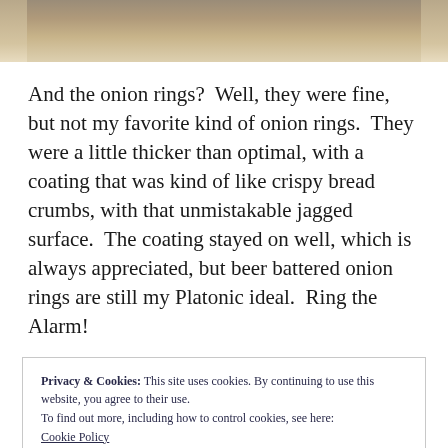[Figure (photo): Partial photo of food (onion rings) at top of page, cropped]
And the onion rings?  Well, they were fine, but not my favorite kind of onion rings.  They were a little thicker than optimal, with a coating that was kind of like crispy bread crumbs, with that unmistakable jagged surface.  The coating stayed on well, which is always appreciated, but beer battered onion rings are still my Platonic ideal.  Ring the Alarm!
Privacy & Cookies: This site uses cookies. By continuing to use this website, you agree to their use.
To find out more, including how to control cookies, see here:
Cookie Policy
Close and accept
[Figure (photo): Partial photo of food at bottom of page, cropped]